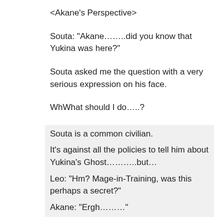<Akane's Perspective>
Souta: “Akane…….did you know that Yukina was here?”
Souta asked me the question with a very serious expression on his face.
WhWhat should I do…..?
Souta is a common civilian.
It’s against all the policies to tell him about Yukina’s Ghost……..but…
Leo: “Hm?  Mage-in-Training, was this perhaps a secret?”
Akane: “Ergh…….”